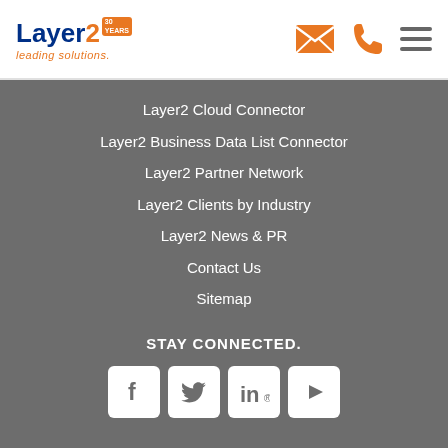[Figure (logo): Layer2 logo with '30 YEARS' badge and 'leading solutions.' tagline in orange]
Layer2 Cloud Connector
Layer2 Business Data List Connector
Layer2 Partner Network
Layer2 Clients by Industry
Layer2 News & PR
Contact Us
Sitemap
STAY CONNECTED.
[Figure (infographic): Social media icons: Facebook, Twitter, LinkedIn, YouTube]